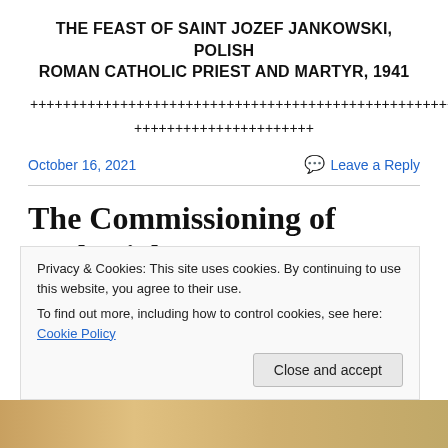THE FEAST OF SAINT JOZEF JANKOWSKI, POLISH ROMAN CATHOLIC PRIEST AND MARTYR, 1941
++++++++++++++++++++++++++++++++++++++++++++++++++
++++++++++++++++++++++
October 16, 2021
Leave a Reply
The Commissioning of Zechariah
Privacy & Cookies: This site uses cookies. By continuing to use this website, you agree to their use.
To find out more, including how to control cookies, see here: Cookie Policy
Close and accept
[Figure (photo): Partial image at bottom of page, appears to be a religious or historical photograph]